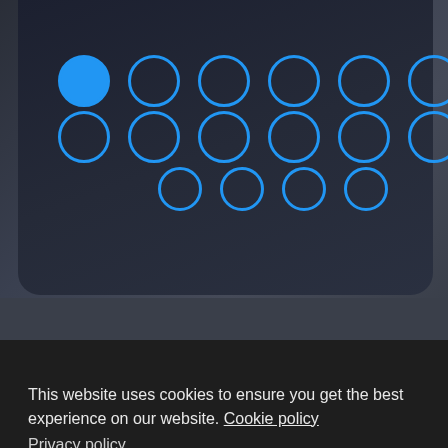[Figure (screenshot): Mobile app screenshot showing a pattern or password entry screen with blue circular dots arranged in rows on a dark geometric background. First dot is filled (selected), remaining dots are outlined circles.]
[Figure (screenshot): Video thumbnail card with title 'HOLY $H!T - Biggest mousepad in the world!?' showing a partial view of someone holding a large mousepad-like object in a room with orange and grey tones.]
This website uses cookies to ensure you get the best experience on our website. Cookie policy Privacy policy
Decline
Allow cookies